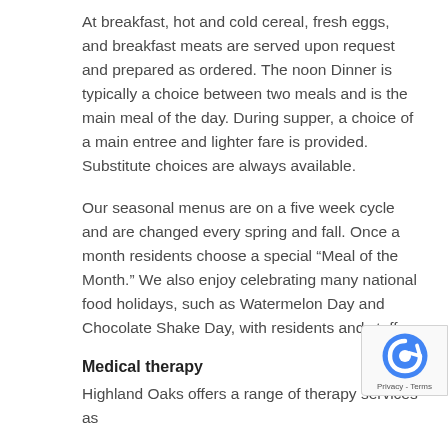At breakfast, hot and cold cereal, fresh eggs, and breakfast meats are served upon request and prepared as ordered. The noon Dinner is typically a choice between two meals and is the main meal of the day. During supper, a choice of a main entree and lighter fare is provided. Substitute choices are always available.
Our seasonal menus are on a five week cycle and are changed every spring and fall. Once a month residents choose a special “Meal of the Month.” We also enjoy celebrating many national food holidays, such as Watermelon Day and Chocolate Shake Day, with residents and staff.
Medical therapy
Highland Oaks offers a range of therapy services as